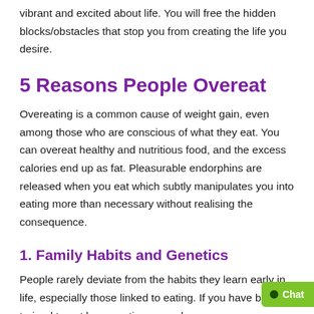vibrant and excited about life. You will free the hidden blocks/obstacles that stop you from creating the life you desire.
5 Reasons People Overeat
Overeating is a common cause of weight gain, even among those who are conscious of what they eat. You can overeat healthy and nutritious food, and the excess calories end up as fat. Pleasurable endorphins are released when you eat which subtly manipulates you into eating more than necessary without realising the consequence.
1. Family Habits and Genetics
People rarely deviate from the habits they learn early in life, especially those linked to eating. If you have been trained to eat large portions, snack